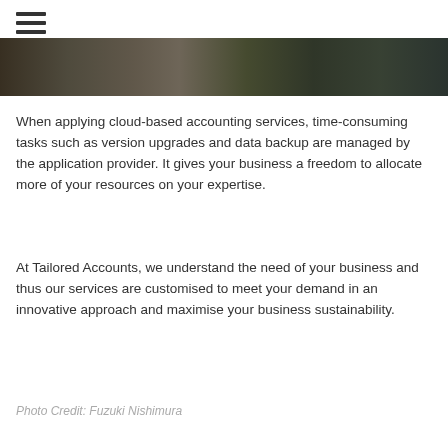[Figure (photo): Dark photograph strip showing people, partially visible at top of page]
When applying cloud-based accounting services, time-consuming tasks such as version upgrades and data backup are managed by the application provider. It gives your business a freedom to allocate more of your resources on your expertise.
At Tailored Accounts, we understand the need of your business and thus our services are customised to meet your demand in an innovative approach and maximise your business sustainability.
Photo Credit: Fuzuki Nishimura